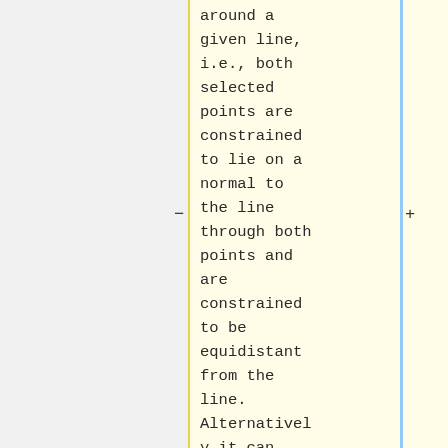around a given line, i.e., both selected points are constrained to lie on a normal to the line through both points and are constrained to be equidistant from the line. Alternatively it can constrain two points to be